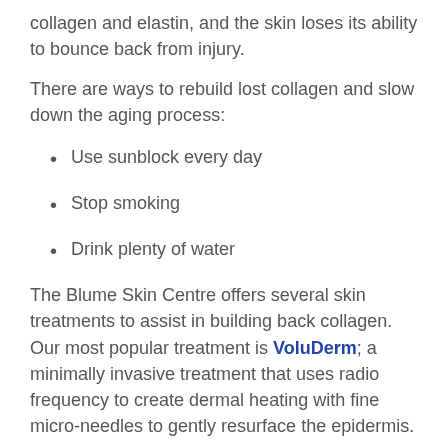collagen and elastin, and the skin loses its ability to bounce back from injury.
There are ways to rebuild lost collagen and slow down the aging process:
Use sunblock every day
Stop smoking
Drink plenty of water
The Blume Skin Centre offers several skin treatments to assist in building back collagen. Our most popular treatment is VoluDerm; a minimally invasive treatment that uses radio frequency to create dermal heating with fine micro-needles to gently resurface the epidermis.